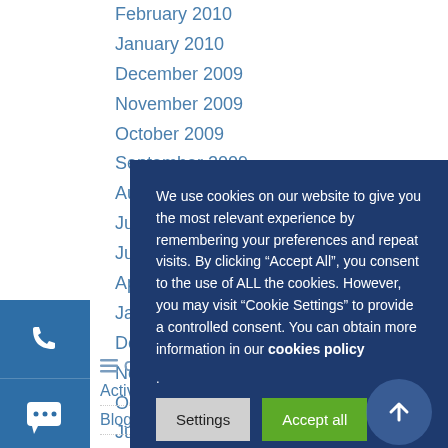February 2010
January 2010
December 2009
November 2009
October 2009
September 2009
August 2009
July 2009
June 2009
April 2009
January 2009
December 2008
November 2008
October 2008
July 2008
CATEGORIES
Activities in iNMS
Blog
We use cookies on our website to give you the most relevant experience by remembering your preferences and repeat visits. By clicking “Accept All”, you consent to the use of ALL the cookies. However, you may visit "Cookie Settings" to provide a controlled consent. You can obtain more information in our cookies policy .